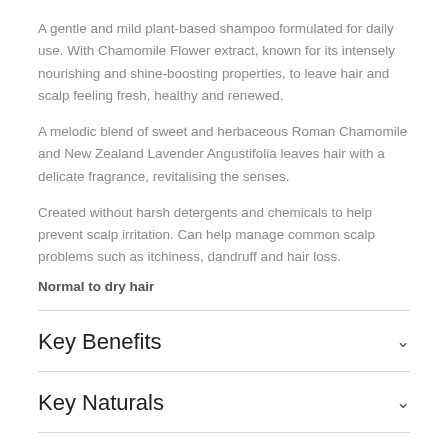A gentle and mild plant-based shampoo formulated for daily use. With Chamomile Flower extract, known for its intensely nourishing and shine-boosting properties, to leave hair and scalp feeling fresh, healthy and renewed.
A melodic blend of sweet and herbaceous Roman Chamomile and New Zealand Lavender Angustifolia leaves hair with a delicate fragrance, revitalising the senses.
Created without harsh detergents and chemicals to help prevent scalp irritation. Can help manage common scalp problems such as itchiness, dandruff and hair loss.
Normal to dry hair
Key Benefits
Key Naturals